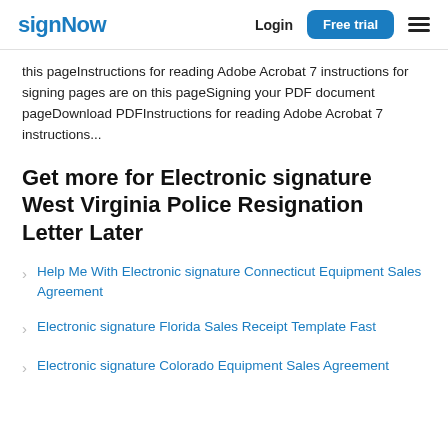signNow  Login  Free trial
this pageInstructions for reading Adobe Acrobat 7 instructions for signing pages are on this pageSigning your PDF document pageDownload PDFInstructions for reading Adobe Acrobat 7 instructions...
Get more for Electronic signature West Virginia Police Resignation Letter Later
Help Me With Electronic signature Connecticut Equipment Sales Agreement
Electronic signature Florida Sales Receipt Template Fast
Electronic signature Colorado Equipment Sales Agreement